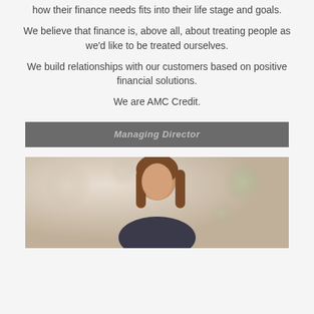how their finance needs fits into their life stage and goals.
We believe that finance is, above all, about treating people as we'd like to be treated ourselves.
We build relationships with our customers based on positive financial solutions.
We are AMC Credit.
[Figure (photo): A grey banner with italic bold text reading 'Managing Director', partially obscured]
[Figure (photo): Portrait photo of a woman with long brown hair in a professional office setting with blurred background]